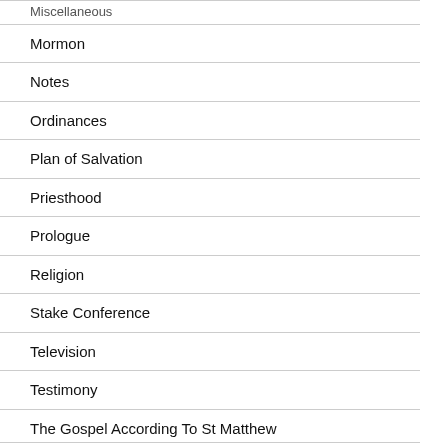Miscellaneous
Mormon
Notes
Ordinances
Plan of Salvation
Priesthood
Prologue
Religion
Stake Conference
Television
Testimony
The Gospel According To St Matthew